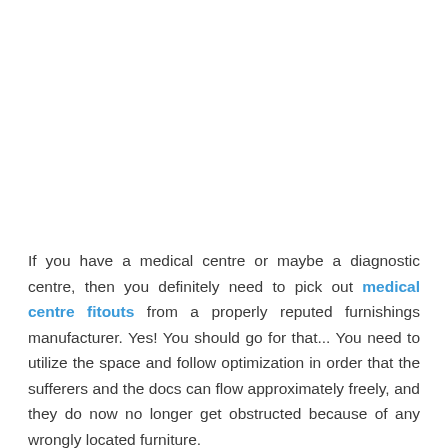If you have a medical centre or maybe a diagnostic centre, then you definitely need to pick out medical centre fitouts from a properly reputed furnishings manufacturer. Yes! You should go for that... You need to utilize the space and follow optimization in order that the sufferers and the docs can flow approximately freely, and they do now no longer get obstructed because of any wrongly located furniture.